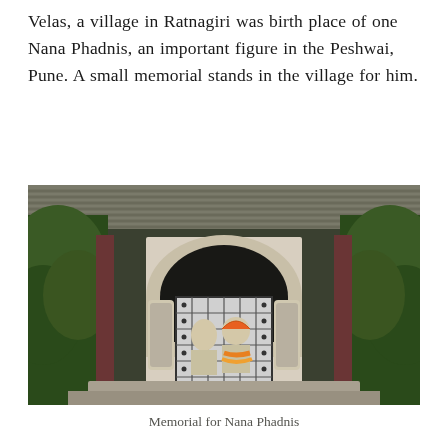Velas, a village in Ratnagiri was birth place of one Nana Phadnis, an important figure in the Peshwai, Pune. A small memorial stands in the village for him.
[Figure (photo): Photograph of a small memorial structure for Nana Phadnis in Velas village. The structure has an arched entrance with a dark semicircular arch, corrugated metal roof, red/brown pillars on either side, surrounded by green foliage. Behind a metal gate/grill, two statues or portraits are visible, with one figure wearing an orange marigold garland. The base of the structure is concrete.]
Memorial for Nana Phadnis